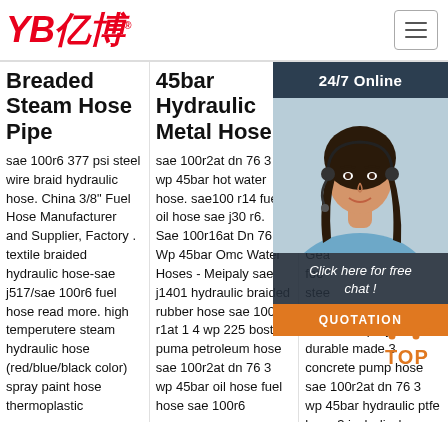YB亿博® [hamburger menu]
Breaded Steam Hose Pipe
sae 100r6 377 psi steel wire braid hydraulic hose. China 3/8" Fuel Hose Manufacturer and Supplier, Factory . textile braided hydraulic hose-sae j517/sae 100r6 fuel hose read more. high temperutere steam hydraulic hose (red/blue/black color) spray paint hose thermoplastic
45bar Hydraulic Metal Hose
sae 100r2at dn 76 3 wp 45bar hot water hose. sae100 r14 fuel oil hose sae j30 r6. Sae 100r16at Dn 76 3 Wp 45bar Omc Water Hoses - Meipaly sae j1401 hydraulic braided rubber hose sae 100 r1at 1 4 wp 225 boston puma petroleum hose sae 100r2at dn 76 3 wp 45bar oil hose fuel hose sae 100r6
45bar Air Co... Fle...
sae... wp... hos... 33.0... hos... Géa... foo... stee... 8 id... chemical spray hose durable made 3 concrete pump hose sae 100r2at dn 76 3 wp 45bar hydraulic ptfe hose 3 inch discharge
[Figure (photo): Customer service representative (woman with headset) in an overlay chat widget with '24/7 Online' header, 'Click here for free chat!' text, and an orange QUOTATION button]